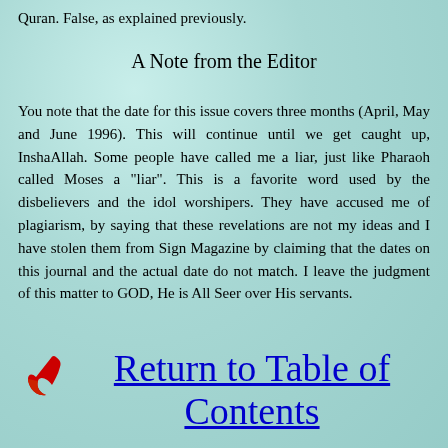Quran. False, as explained previously.
A Note from the Editor
You note that the date for this issue covers three months (April, May and June 1996). This will continue until we get caught up, InshaAllah. Some people have called me a liar, just like Pharaoh called Moses a "liar". This is a favorite word used by the disbelievers and the idol worshipers. They have accused me of plagiarism, by saying that these revelations are not my ideas and I have stolen them from Sign Magazine by claiming that the dates on this journal and the actual date do not match. I leave the judgment of this matter to GOD, He is All Seer over His servants.
Return to Table of Contents